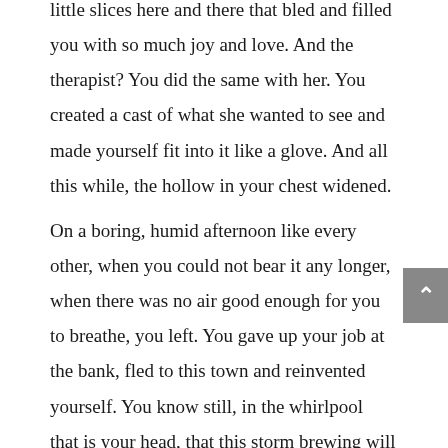little slices here and there that bled and filled you with so much joy and love. And the therapist? You did the same with her. You created a cast of what she wanted to see and made yourself fit into it like a glove. And all this while, the hollow in your chest widened.

On a boring, humid afternoon like every other, when you could not bear it any longer, when there was no air good enough for you to breathe, you left. You gave up your job at the bank, fled to this town and reinvented yourself. You know still, in the whirlpool that is your head, that this storm brewing will spill over and corrode everything and everyone next to